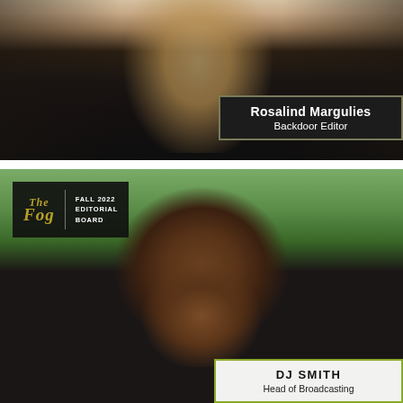[Figure (photo): Top portion of page showing a person with long curly hair wearing dark clothing, photo cropped at torso level. A dark name label reads 'Rosalind Margulies – Backdoor Editor' in the lower right.]
Rosalind Margulies
Backdoor Editor
[Figure (photo): Large photo of DJ Smith, a smiling man with dreadlocks and a beard, wearing a dark shirt with an orange collar. Background shows blurred green foliage. The Fog newspaper editorial board logo appears in the top left corner. A name label at bottom reads 'DJ SMITH – Head of Broadcasting'.]
The Fog
FALL 2022
EDITORIAL
BOARD
DJ SMITH
Head of Broadcasting